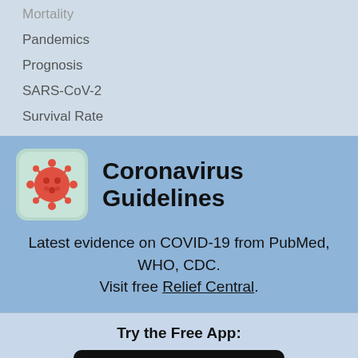Mortality
Pandemics
Prognosis
SARS-CoV-2
Survival Rate
[Figure (illustration): Coronavirus icon — rounded square with light teal background showing a red coronavirus particle illustration]
Coronavirus Guidelines
Latest evidence on COVID-19 from PubMed, WHO, CDC. Visit free Relief Central.
Try the Free App:
[Figure (logo): Download on the App Store button — black rounded rectangle with Apple logo and text 'Download on the App Store']
Prime PubMed is provided free to individuals by: